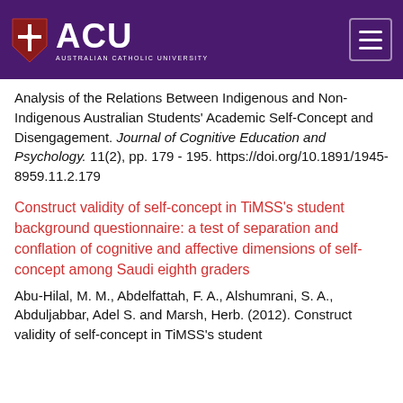[Figure (logo): Australian Catholic University (ACU) logo with shield icon and hamburger menu button on purple header bar]
Analysis of the Relations Between Indigenous and Non-Indigenous Australian Students' Academic Self-Concept and Disengagement. Journal of Cognitive Education and Psychology. 11(2), pp. 179 - 195. https://doi.org/10.1891/1945-8959.11.2.179
Construct validity of self-concept in TiMSS's student background questionnaire: a test of separation and conflation of cognitive and affective dimensions of self-concept among Saudi eighth graders
Abu-Hilal, M. M., Abdelfattah, F. A., Alshumrani, S. A., Abduljabbar, Adel S. and Marsh, Herb. (2012). Construct validity of self-concept in TiMSS's student